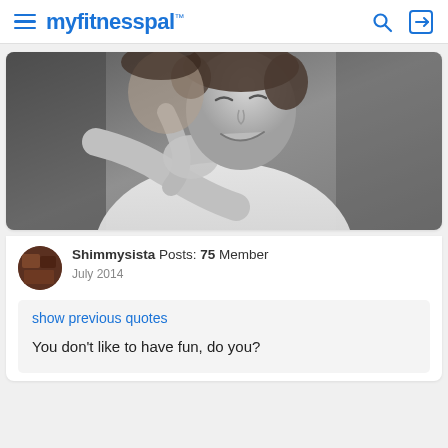myfitnesspal
[Figure (photo): Black and white photo of a laughing child covering their mouth with their hand, another person's arm visible hugging them from behind]
Shimmysista  Posts: 75  Member
July 2014
show previous quotes
You don't like to have fun, do you?